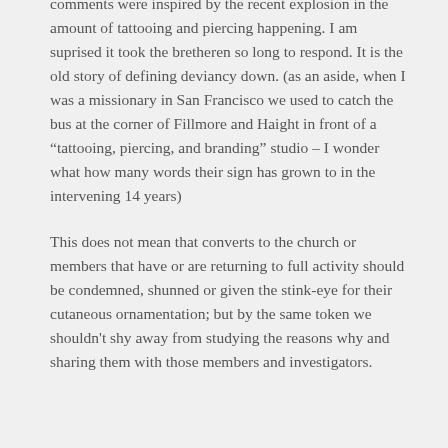comments were inspired by the recent explosion in the amount of tattooing and piercing happening. I am suprised it took the bretheren so long to respond. It is the old story of defining deviancy down. (as an aside, when I was a missionary in San Francisco we used to catch the bus at the corner of Fillmore and Haight in front of a “tattooing, piercing, and branding” studio – I wonder what how many words their sign has grown to in the intervening 14 years)
This does not mean that converts to the church or members that have or are returning to full activity should be condemned, shunned or given the stink-eye for their cutaneous ornamentation; but by the same token we shouldn't shy away from studying the reasons why and sharing them with those members and investigators.